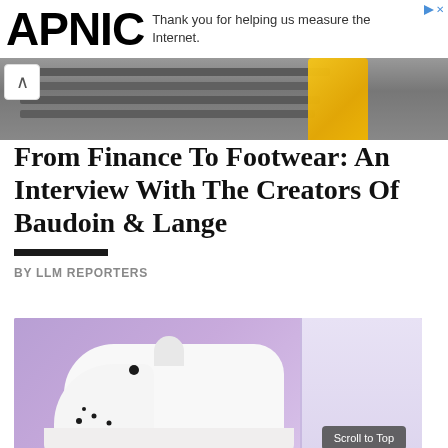APNIC
Thank you for helping us measure the Internet.
[Figure (photo): Hero image strip showing a bench or railing with a yellow object, grey/metal tones]
From Finance To Footwear: An Interview With The Creators Of Baudoin & Lange
BY LLM REPORTERS
[Figure (photo): Close-up photo of white sneaker shoes on a purple/lavender background]